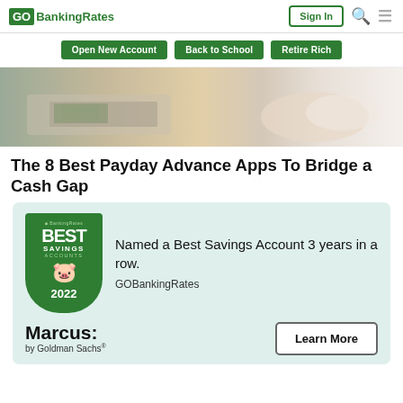GO BankingRates | Sign In
Open New Account | Back to School | Retire Rich
[Figure (photo): Photo of hands exchanging cash money at what appears to be a bank teller window or ATM]
The 8 Best Payday Advance Apps To Bridge a Cash Gap
[Figure (infographic): GOBankingRates Best Savings Accounts 2022 badge with piggy bank icon. Text reads: Named a Best Savings Account 3 years in a row. GOBankingRates. Marcus: by Goldman Sachs with Learn More button.]